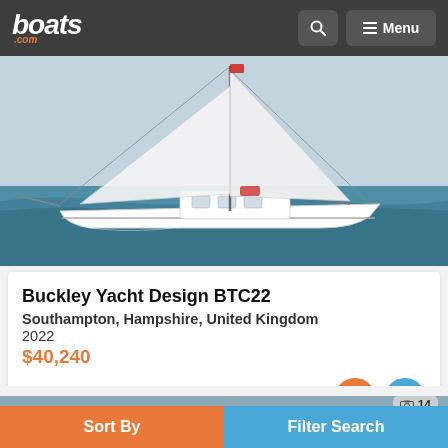boats.com — Menu navigation bar
[Figure (photo): White sailboat (Buckley Yacht Design BTC22) sailing on blue water, viewed from the side. White hull, mast with sails, blue sky background.]
Buckley Yacht Design BTC22
Southampton, Hampshire, United Kingdom
2022
$40,240
Seller Boats on Wheels
[Figure (photo): Partial view of second boat listing image at bottom of page]
Sort By   Filter Search